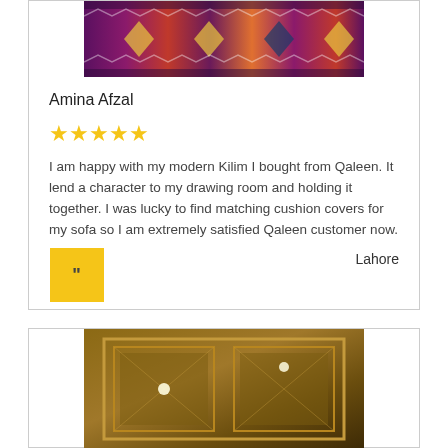[Figure (photo): Colorful kilim/rug with geometric patterns in red, purple, and blue tones, partially visible at top of card]
Amina Afzal
[Figure (other): Five gold star rating]
I am happy with my modern Kilim I bought from Qaleen. It lend a character to my drawing room and holding it together. I was lucky to find matching cushion covers for my sofa so I am extremely satisfied Qaleen customer now.
Lahore
[Figure (other): Yellow square badge with quotation marks]
[Figure (photo): Wooden coffered ceiling with recessed lighting panels in brown tones]